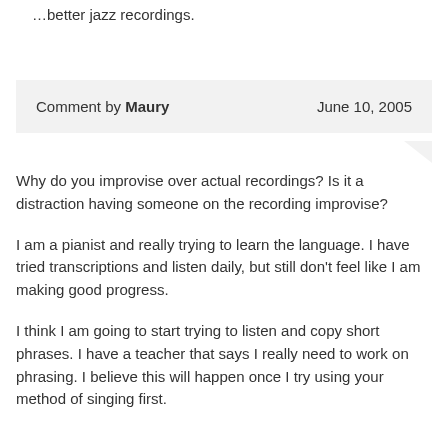…better jazz recordings.
Comment by Maury	June 10, 2005
Why do you improvise over actual recordings? Is it a distraction having someone on the recording improvise?

I am a pianist and really trying to learn the language. I have tried transcriptions and listen daily, but still don't feel like I am making good progress.

I think I am going to start trying to listen and copy short phrases. I have a teacher that says I really need to work on phrasing. I believe this will happen once I try using your method of singing first.